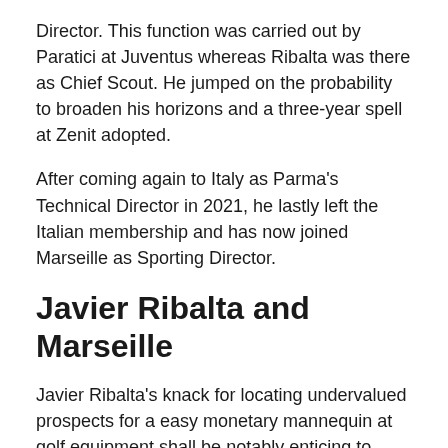Director. This function was carried out by Paratici at Juventus whereas Ribalta was there as Chief Scout. He jumped on the probability to broaden his horizons and a three-year spell at Zenit adopted.
After coming again to Italy as Parma's Technical Director in 2021, he lastly left the Italian membership and has now joined Marseille as Sporting Director.
Javier Ribalta and Marseille
Javier Ribalta's knack for locating undervalued prospects for a easy monetary mannequin at golf equipment shall be notably enticing to Marseille. Marseille have been a membership that has been very sensible within the switch market up to now too.
As a nation, France has by no means been richer in its inhabitants from which The French nation side…